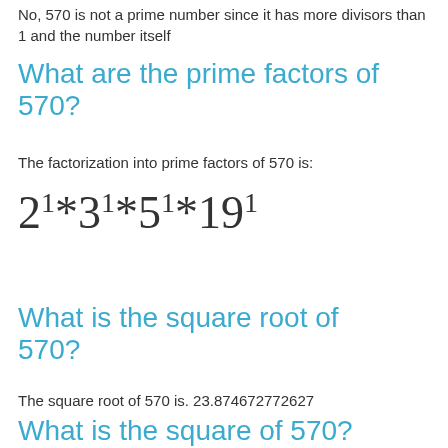No, 570 is not a prime number since it has more divisors than 1 and the number itself
What are the prime factors of 570?
The factorization into prime factors of 570 is:
What is the square root of 570?
The square root of 570 is. 23.874672772627
What is the square of 570?